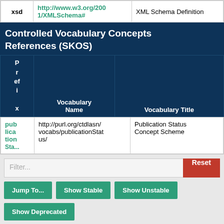| Prefix | URI | Description |
| --- | --- | --- |
| xsd | http://www.w3.org/2001/XMLSchema# | XML Schema Definition |
Controlled Vocabulary Concepts References (SKOS)
| Prefix | Vocabulary Name | Vocabulary Title |
| --- | --- | --- |
| publication Status | http://purl.org/ctdlasn/vocabs/publicationStatus/ | Publication Status Concept Scheme |
Filter...
Reset
Jump To... | Show Stable | Show Unstable | Show Deprecated